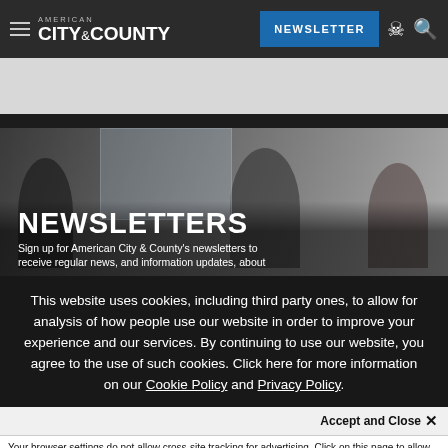AMERICAN CITY & COUNTY — NEWSLETTER
[Figure (photo): Hero banner showing people in a meeting room with text NEWSLETTERS and subtitle 'Sign up for American City & County's newsletters to receive regular news, and information updates, about']
NEWSLETTERS
Sign up for American City & County's newsletters to receive regular news, and information updates, about
This website uses cookies, including third party ones, to allow for analysis of how people use our website in order to improve your experience and our services. By continuing to use our website, you agree to the use of such cookies. Click here for more information on our Cookie Policy and Privacy Policy.
Accept and Close ✕
Your browser settings do not allow cross-site tracking for advertising. Click on this page to allow AdRoll to use cross-site tracking to tailor ads to you. Learn more or opt out of this AdRoll tracking by clicking here. This message only appears once.